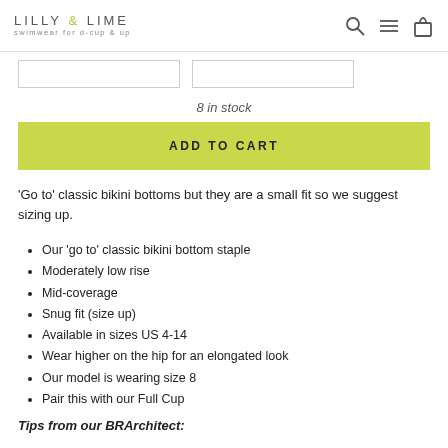LILLY & LIME swimwear for d-cup & up
8 in stock
ADD TO CART
'Go to' classic bikini bottoms but they are a small fit so we suggest sizing up.
Our 'go to' classic bikini bottom staple
Moderately low rise
Mid-coverage
Snug fit (size up)
Available in sizes US 4-14
Wear higher on the hip for an elongated look
Our model is wearing size 8
Pair this with our Full Cup
Tips from our BRArchitect: